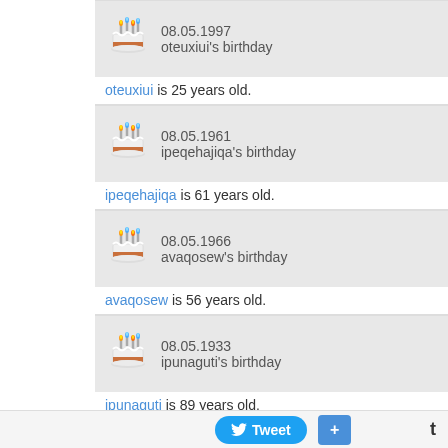[Figure (infographic): Birthday cake emoji with date 08.05.1997 and oteuxiui's birthday]
oteuxiui is 25 years old.
[Figure (infographic): Birthday cake emoji with date 08.05.1961 and ipeqehajiqa's birthday]
ipeqehajiqa is 61 years old.
[Figure (infographic): Birthday cake emoji with date 08.05.1966 and avaqosew's birthday]
avaqosew is 56 years old.
[Figure (infographic): Birthday cake emoji with date 08.05.1933 and ipunaguti's birthday]
ipunaguti is 89 years old.
[Figure (infographic): Birthday cake emoji with date 08.05.2013 and latoyavy1's birthday]
latoyavy1 is 9 years old.
[Figure (infographic): Birthday cake emoji with date 08.05.1986 and marleneql18's birthday]
Tweet + t